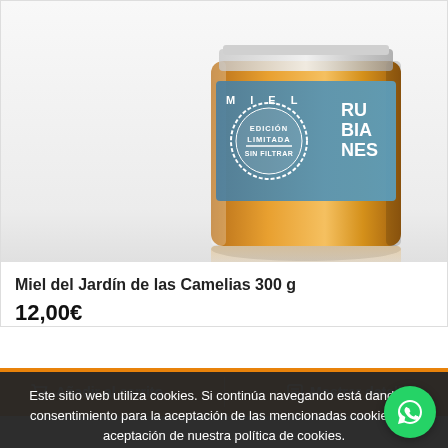[Figure (photo): Honey jar product photo - Miel Rubianes edition limitada sin filtrar, glass jar with amber honey and blue label]
Miel del Jardín de las Camelias 300 g
12,00€
🛒 Añadir al carrito
📋 Mostrar detalles
Este sitio web utiliza cookies. Si continúa navegando está dando su consentimiento para la aceptación de las mencionadas cookies y la aceptación de nuestra política de cookies.
Leer Más
Aceptar